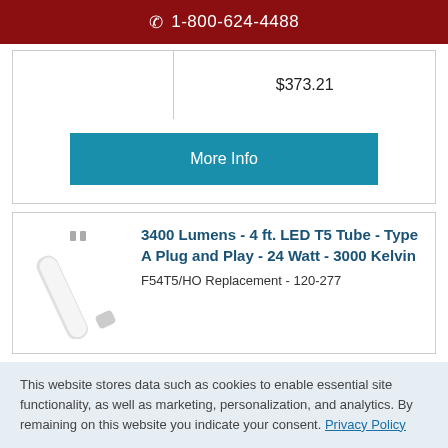1-800-624-4488
|  | $373.21 |
More Info
3400 Lumens - 4 ft. LED T5 Tube - Type A Plug and Play - 24 Watt - 3000 Kelvin
F54T5/HO Replacement - 120-277
This website stores data such as cookies to enable essential site functionality, as well as marketing, personalization, and analytics. By remaining on this website you indicate your consent. Privacy Policy